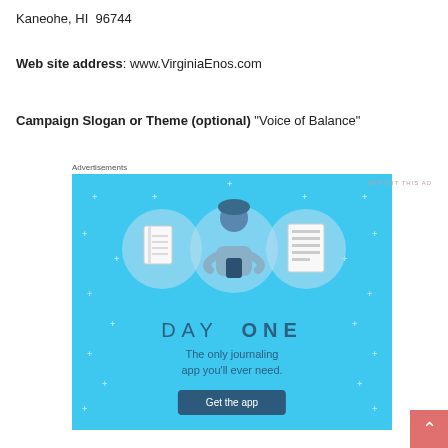Kaneohe, HI  96744
Web site address: www.VirginiaEnos.com
Campaign Slogan or Theme (optional) "Voice of Balance"
Advertisements
[Figure (illustration): Day One journaling app advertisement. Light blue background with sparkle dots, three circular icons (notebook, person with phone, notepad), large text 'DAY ONE', tagline 'The only journaling app you’ll ever need.', and a 'Get the app' button.]
REPORT THIS AD